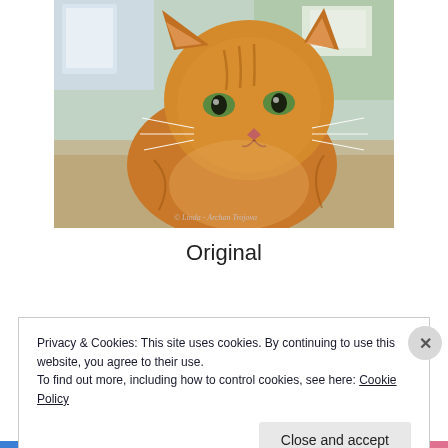[Figure (photo): An orange tabby cat sitting and looking at the camera with green eyes. Background shows a mesh enclosure and outdoor area. Watermark reads '© Linda - Archan Trojova' at the bottom.]
Original
Privacy & Cookies: This site uses cookies. By continuing to use this website, you agree to their use.
To find out more, including how to control cookies, see here: Cookie Policy
Close and accept